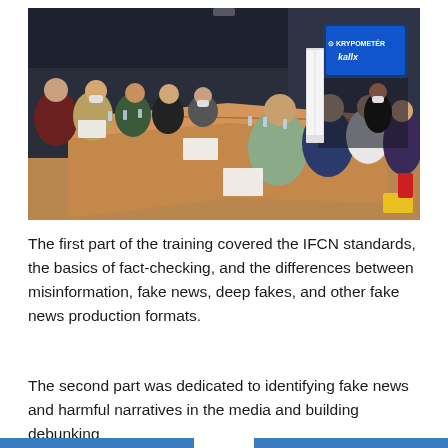[Figure (photo): A conference room training session with participants seated around long wooden tables arranged in a U-shape, facing a presenter at the front near a screen displaying 'KRYPOMETER' and 'kallx' logos. Attendees are wearing masks.]
The first part of the training covered the IFCN standards, the basics of fact-checking, and the differences between misinformation, fake news, deep fakes, and other fake news production formats.
The second part was dedicated to identifying fake news and harmful narratives in the media and building debunking